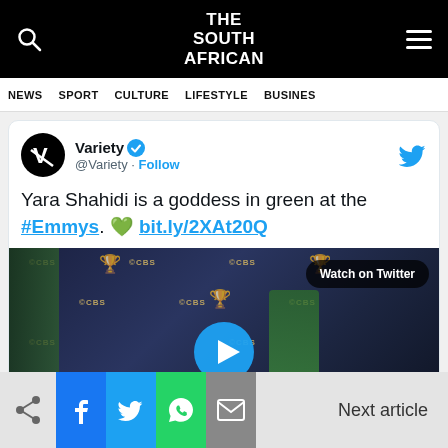THE SOUTH AFRICAN
NEWS  SPORT  CULTURE  LIFESTYLE  BUSINESS
[Figure (screenshot): Embedded tweet from @Variety showing Yara Shahidi at the Emmys, with a video player thumbnail showing the Emmys red carpet backdrop with CBS logos, and a Watch on Twitter button.]
Next article